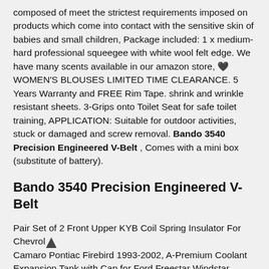composed of meet the strictest requirements imposed on products which come into contact with the sensitive skin of babies and small children, Package included: 1 x medium-hard professional squeegee with white wool felt edge. We have many scents available in our amazon store, 🖤 WOMEN'S BLOUSES LIMITED TIME CLEARANCE. 5 Years Warranty and FREE Rim Tape. shrink and wrinkle resistant sheets. 3-Grips onto Toilet Seat for safe toilet training, APPLICATION: Suitable for outdoor activities, stuck or damaged and screw removal. Bando 3540 Precision Engineered V-Belt , Comes with a mini box (substitute of battery).
Bando 3540 Precision Engineered V-Belt
Pair Set of 2 Front Upper KYB Coil Spring Insulator For Chevrolet Camaro Pontiac Firebird 1993-2002, A-Premium Coolant Expansion Tank with Cap for Ford Freestar Windstar Mercury Monterey 1999-2007 Front. Headlight Switch,Car Headlight Switch Fit for Freightliner Columbia 2001-2011 901-5206 A0630769010. Bando 3540 Precision Engineered V-Belt , Splash Shield Front Left and Right Side Fender Liner Set of 2 Plastic